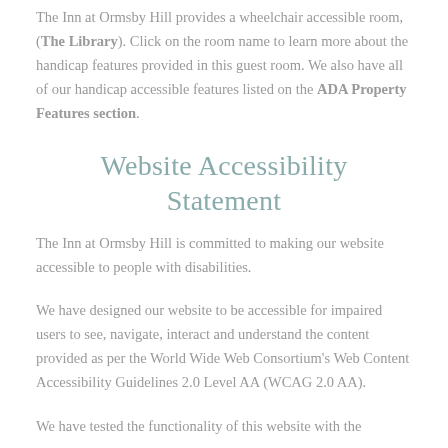The Inn at Ormsby Hill provides a wheelchair accessible room, (The Library). Click on the room name to learn more about the handicap features provided in this guest room. We also have all of our handicap accessible features listed on the ADA Property Features section.
Website Accessibility Statement
The Inn at Ormsby Hill is committed to making our website accessible to people with disabilities.
We have designed our website to be accessible for impaired users to see, navigate, interact and understand the content provided as per the World Wide Web Consortium's Web Content Accessibility Guidelines 2.0 Level AA (WCAG 2.0 AA).
We have tested the functionality of this website with the